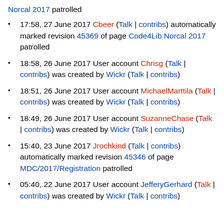Norcal 2017 patrolled
17:58, 27 June 2017 Cbeer (Talk | contribs) automatically marked revision 45369 of page Code4Lib Norcal 2017 patrolled
18:58, 26 June 2017 User account Chrisg (Talk | contribs) was created by Wickr (Talk | contribs)
18:51, 26 June 2017 User account MichaelMarttila (Talk | contribs) was created by Wickr (Talk | contribs)
18:49, 26 June 2017 User account SuzanneChase (Talk | contribs) was created by Wickr (Talk | contribs)
15:40, 23 June 2017 Jrochkind (Talk | contribs) automatically marked revision 45346 of page MDC/2017/Registration patrolled
05:40, 22 June 2017 User account JefferyGerhard (Talk | contribs) was created by Wickr (Talk | contribs)